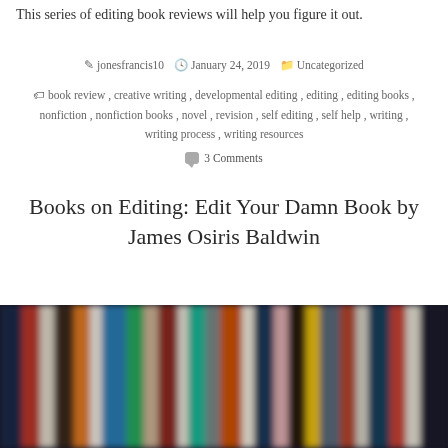This series of editing book reviews will help you figure it out.
jonesfrancis10   January 24, 2019   Uncategorized
book review , creative writing , developmental editing , editing , editing books , nonfiction , nonfiction books , novel , revision , self editing , self help , writing , writing process , writing resources
3 Comments
Books on Editing: Edit Your Damn Book by James Osiris Baldwin
[Figure (photo): A blurred photo of colorful books lined up on a shelf, viewed from the side, showing spines in red, orange, blue, white, and other colors against a dark background.]